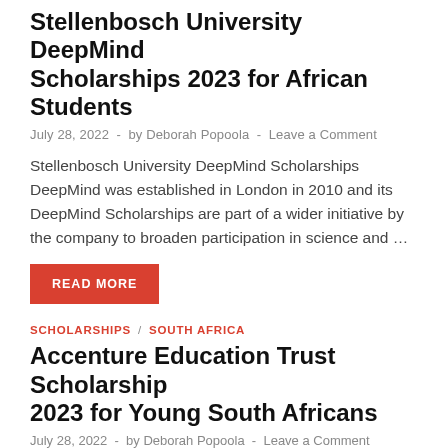Stellenbosch University DeepMind Scholarships 2023 for African Students
July 28, 2022  -  by Deborah Popoola  -  Leave a Comment
Stellenbosch University DeepMind Scholarships DeepMind was established in London in 2010 and its DeepMind Scholarships are part of a wider initiative by the company to broaden participation in science and …
READ MORE
SCHOLARSHIPS / SOUTH AFRICA
Accenture Education Trust Scholarship 2023 for Young South Africans
July 28, 2022  -  by Deborah Popoola  -  Leave a Comment
Accenture Education Trust Scholarship 2023 The Accenture Education Trust, helps students whose family income is no more than R350,000...